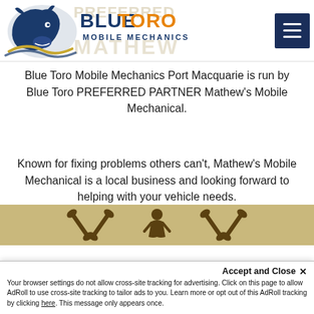[Figure (logo): Blue Toro Mobile Mechanics logo with bull/horse graphic and blue/orange wordmark, with faded watermark text 'PREFERRED PARTNER MATHEW' behind it]
Blue Toro Mobile Mechanics Port Macquarie is run by Blue Toro PREFERRED PARTNER Mathew's Mobile Mechanical.
Known for fixing problems others can't, Mathew's Mobile Mechanical is a local business and looking forward to helping with your vehicle needs.
[Figure (illustration): Gold/khaki banner with mechanic tools (wrenches crossed) and mechanic figure illustration]
Accept and Close ✕
Your browser settings do not allow cross-site tracking for advertising. Click on this page to allow AdRoll to use cross-site tracking to tailor ads to you. Learn more or opt out of this AdRoll tracking by clicking here. This message only appears once.